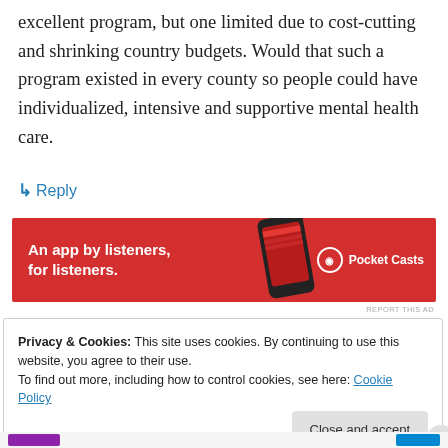excellent program, but one limited due to cost-cutting and shrinking country budgets. Would that such a program existed in every county so people could have individualized, intensive and supportive mental health care.
↳ Reply
[Figure (screenshot): Pocket Casts advertisement banner: red background, text 'An app by listeners, for listeners.' with phone image and Pocket Casts logo]
REPORT THIS AD
Privacy & Cookies: This site uses cookies. By continuing to use this website, you agree to their use.
To find out more, including how to control cookies, see here: Cookie Policy
Close and accept